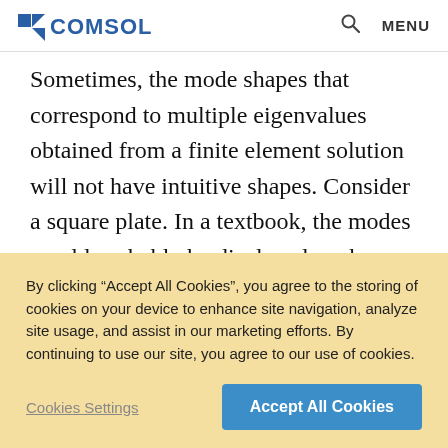COMSOL
Sometimes, the mode shapes that correspond to multiple eigenvalues obtained from a finite element solution will not have intuitive shapes. Consider a square plate. In a textbook, the modes would probably be displayed as shown below.
By clicking “Accept All Cookies”, you agree to the storing of cookies on your device to enhance site navigation, analyze site usage, and assist in our marketing efforts. By continuing to use our site, you agree to our use of cookies.
Cookies Settings | Accept All Cookies